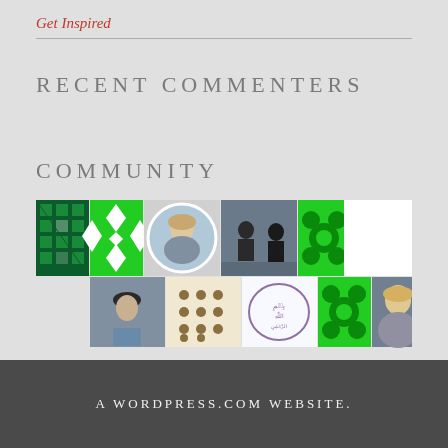Get Inspired
RECENT COMMENTERS
COMMUNITY
[Figure (photo): Grid of community member avatars/profile pictures arranged in two rows. Row 1: green geometric pattern, green cross pattern, circular photo of blonde woman, photo of two people silhouetted, green floral geometric pattern, photo of woman with glasses, illustrated avatar saying hi. Row 2: photo of older man with cap, tan geometric dot pattern, illustrated logo with text, green floral geometric pattern, photo of blonde woman.]
A WORDPRESS.COM WEBSITE.